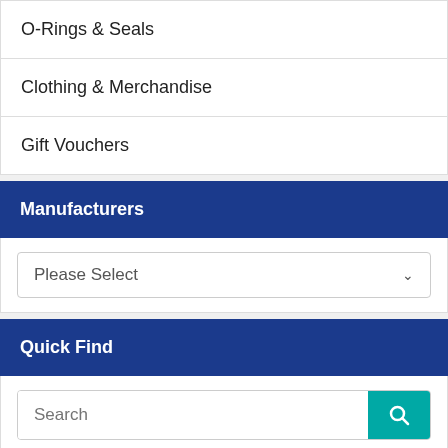O-Rings & Seals
Clothing & Merchandise
Gift Vouchers
Manufacturers
Please Select
Quick Find
Search
Use keywords to find the product you are looking for.